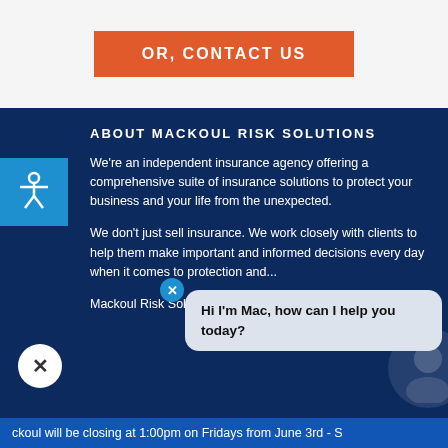OR, CONTACT US
ABOUT MACKOUL RISK SOLUTIONS
We're an independent insurance agency offering a comprehensive suite of insurance solutions to protect your business and your life from the unexpected.
We don't just sell insurance. We work closely with clients to help them make important and informed decisions every day when it comes to protection and...
Mackoul Risk Solutions specializes in real estate
Hi I'm Mac, how can I help you today?
ckoul will be closing at 1:00pm on Fridays from June 3rd - S